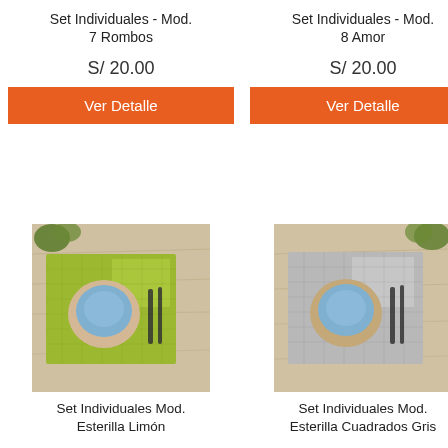Set Individuales - Mod. 7 Rombos
S/ 20.00
Ver Detalle
Set Individuales - Mod. 8 Amor
S/ 20.00
Ver Detalle
[Figure (photo): Top-down photo of a green/lime placemat (Esterilla Limón) with a blue ceramic bowl and dark cutlery on a wooden surface.]
Set Individuales Mod. Esterilla Limón
[Figure (photo): Top-down photo of a grey placemat (Esterilla Cuadrados Gris) with a blue ceramic bowl and dark cutlery on a wooden surface.]
Set Individuales Mod. Esterilla Cuadrados Gris